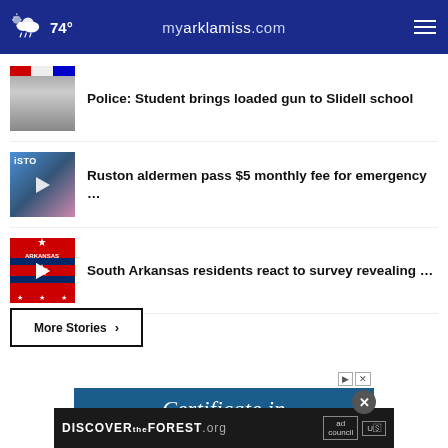74° myarklamiss.com
Police: Student brings loaded gun to Slidell school
Ruston aldermen pass $5 monthly fee for emergency …
South Arkansas residents react to survey revealing …
More Stories ›
[Figure (screenshot): Advertisement banner: Certificate in text over blue background, with Discover the Forest .org ad below]